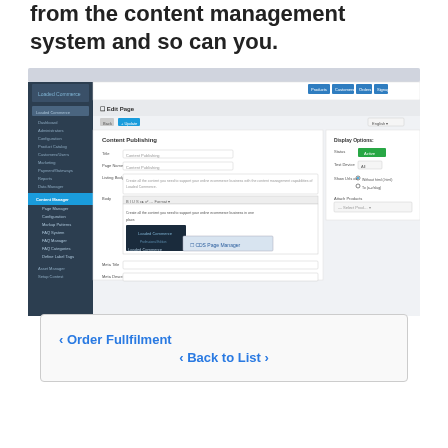from the content management system and so can you.
[Figure (screenshot): Screenshot of Loaded Commerce CMS Edit Page interface showing Content Publishing form with sidebar navigation, toolbar, body editor, and Display Options panel.]
< Order Fullfilment
< Back to List >